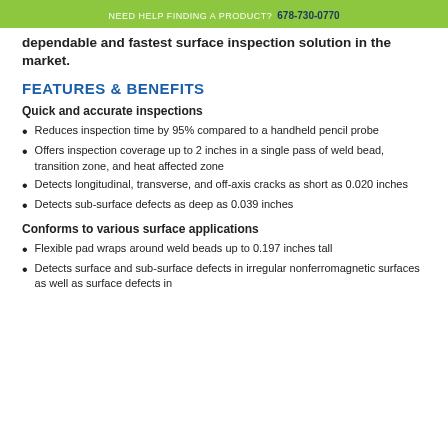NEED HELP FINDING A PRODUCT? 678-730-0770
dependable and fastest surface inspection solution in the market.
FEATURES & BENEFITS
Quick and accurate inspections
Reduces inspection time by 95% compared to a handheld pencil probe
Offers inspection coverage up to 2 inches in a single pass of weld bead, transition zone, and heat affected zone
Detects longitudinal, transverse, and off-axis cracks as short as 0.020 inches
Detects sub-surface defects as deep as 0.039 inches
Conforms to various surface applications
Flexible pad wraps around weld beads up to 0.197 inches tall
Detects surface and sub-surface defects in irregular nonferromagnetic surfaces as well as surface defects in